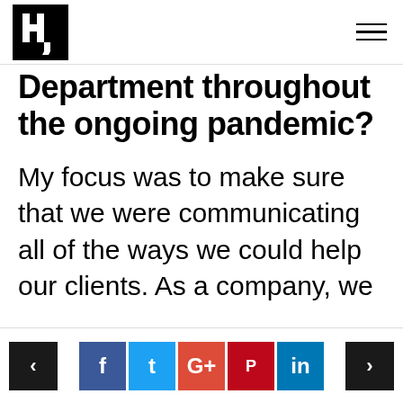[Logo] [Hamburger menu]
Department throughout the ongoing pandemic?
My focus was to make sure that we were communicating all of the ways we could help our clients. As a company, we
< [Facebook] [Twitter] [Google+] [Pinterest] [LinkedIn] >